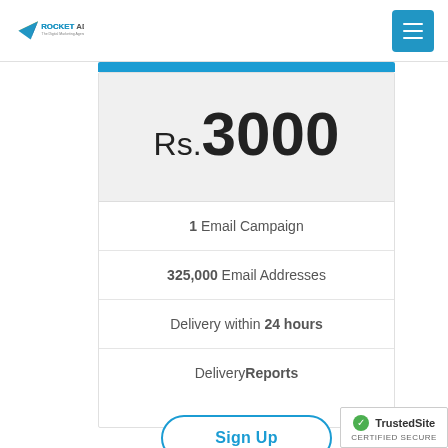RocketAdz.com — The Digital Marketing Agency
Rs.3000
1 Email Campaign
325,000 Email Addresses
Delivery within 24 hours
DeliveryReports
Sign Up
[Figure (logo): TrustedSite Certified Secure badge with green checkmark]